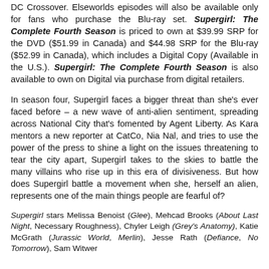DC Crossover. Elseworlds episodes will also be available only for fans who purchase the Blu-ray set. Supergirl: The Complete Fourth Season is priced to own at $39.99 SRP for the DVD ($51.99 in Canada) and $44.98 SRP for the Blu-ray ($52.99 in Canada), which includes a Digital Copy (Available in the U.S.). Supergirl: The Complete Fourth Season is also available to own on Digital via purchase from digital retailers.
In season four, Supergirl faces a bigger threat than she's ever faced before – a new wave of anti-alien sentiment, spreading across National City that's fomented by Agent Liberty. As Kara mentors a new reporter at CatCo, Nia Nal, and tries to use the power of the press to shine a light on the issues threatening to tear the city apart, Supergirl takes to the skies to battle the many villains who rise up in this era of divisiveness. But how does Supergirl battle a movement when she, herself an alien, represents one of the main things people are fearful of?
Supergirl stars Melissa Benoist (Glee), Mehcad Brooks (About Last Night, Necessary Roughness), Chyler Leigh (Grey's Anatomy), Katie McGrath (Jurassic World, Merlin), Jesse Rath (Defiance, No Tomorrow), Sam Witwer